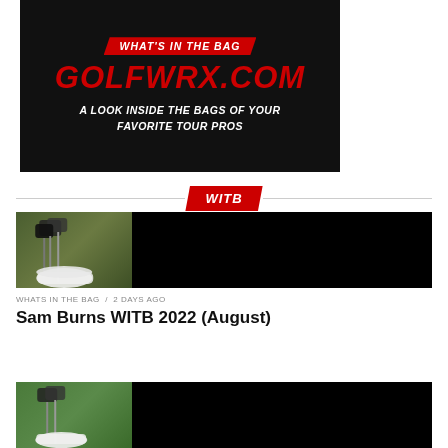[Figure (photo): WITB (What's In The Bag) banner for GolfWRX.com showing red and black design with text 'WHAT'S IN THE BAG', 'GOLFWRX.COM', and 'A LOOK INSIDE THE BAGS OF YOUR FAVORITE TOUR PROS']
WITB
[Figure (photo): Article thumbnail showing golf club heads in a bag on the left and black area on the right]
WHATS IN THE BAG / 2 days ago
Sam Burns WITB 2022 (August)
[Figure (photo): Second article thumbnail showing golf equipment on green background on the left and black area on the right]